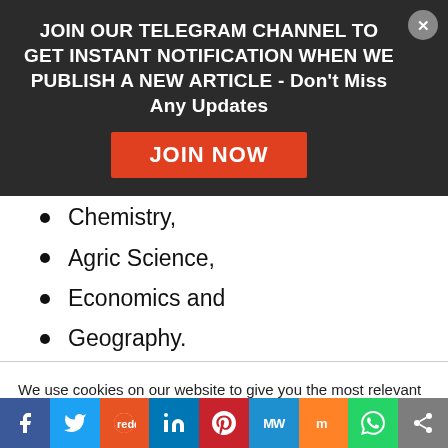JOIN OUR TELEGRAM CHANNEL TO GET INSTANT NOTIFICATION WHEN WE PUBLISH A NEW ARTICLE - Don't Miss Any Updates
Chemistry,
Agric Science,
Economics and
Geography.
We use cookies on our website to give you the most relevant experience by remembering your preferences and repeat visits. By clicking “Accept All”, you consent to the use of ALL the cookies. However, you may visit "Cookie Settings" to provide a controlled consent.